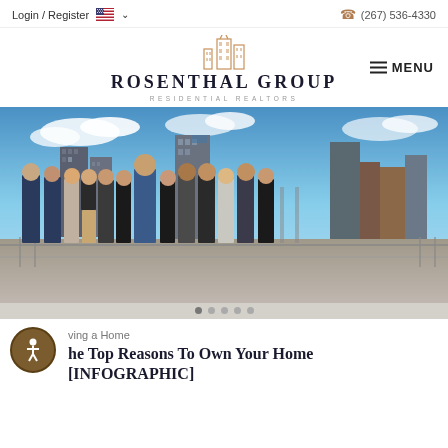Login / Register  (267) 536-4330
[Figure (logo): Rosenthal Group Residential Realtors logo with building icon]
[Figure (photo): Group photo of Rosenthal Group real estate team standing outdoors on a rooftop/bridge with Philadelphia city skyline in the background]
ving a Home
he Top Reasons To Own Your Home [INFOGRAPHIC]